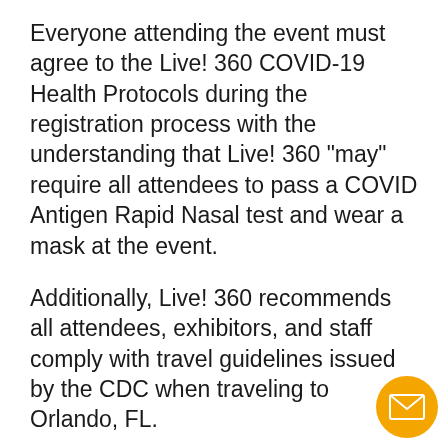Everyone attending the event must agree to the Live! 360 COVID-19 Health Protocols during the registration process with the understanding that Live! 360 "may" require all attendees to pass a COVID Antigen Rapid Nasal test and wear a mask at the event.
Additionally, Live! 360 recommends all attendees, exhibitors, and staff comply with travel guidelines issued by the CDC when traveling to Orlando, FL.
Additional COVID information and protocols will be posted on the event website closer to the event. For questions, please contact the conference registrar at sross@converge360.com or 949.296.9840